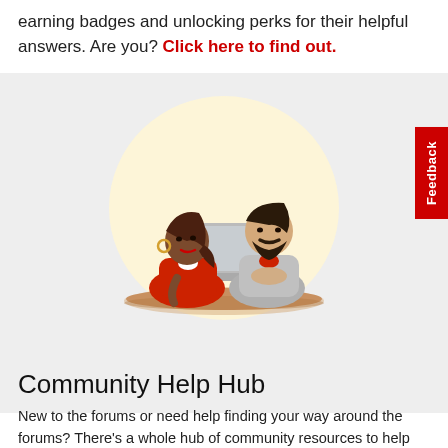earning badges and unlocking perks for their helpful answers. Are you? Click here to find out.
[Figure (illustration): Illustration of two people at a table: a woman in red talking and a bearded man in grey looking at a laptop. They are seated at a round wooden table on a light yellow circular background.]
Community Help Hub
New to the forums or need help finding your way around the forums? There's a whole hub of community resources to help you.